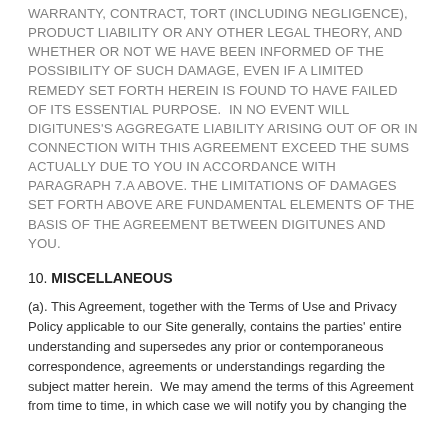WARRANTY, CONTRACT, TORT (INCLUDING NEGLIGENCE), PRODUCT LIABILITY OR ANY OTHER LEGAL THEORY, AND WHETHER OR NOT WE HAVE BEEN INFORMED OF THE POSSIBILITY OF SUCH DAMAGE, EVEN IF A LIMITED REMEDY SET FORTH HEREIN IS FOUND TO HAVE FAILED OF ITS ESSENTIAL PURPOSE.  IN NO EVENT WILL DIGITUNES'S AGGREGATE LIABILITY ARISING OUT OF OR IN CONNECTION WITH THIS AGREEMENT EXCEED THE SUMS ACTUALLY DUE TO YOU IN ACCORDANCE WITH PARAGRAPH 7.a ABOVE. THE LIMITATIONS OF DAMAGES SET FORTH ABOVE ARE FUNDAMENTAL ELEMENTS OF THE BASIS OF THE AGREEMENT BETWEEN DIGITUNES AND YOU.
10. MISCELLANEOUS
(a). This Agreement, together with the Terms of Use and Privacy Policy applicable to our Site generally, contains the parties' entire understanding and supersedes any prior or contemporaneous correspondence, agreements or understandings regarding the subject matter herein.  We may amend the terms of this Agreement from time to time, in which case we will notify you by changing the